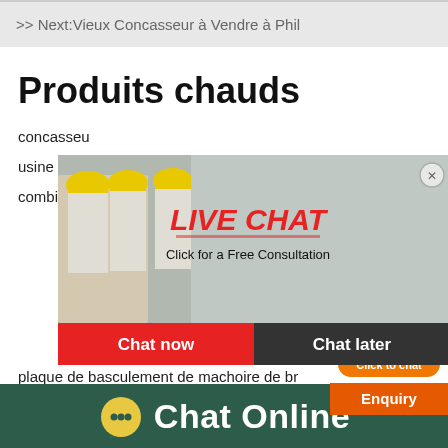>> Next:Vieux Concasseur à Vendre à Phil
Produits chauds
concasseu...
usine de tr...
combien u...
[Figure (screenshot): Live chat popup overlay with workers in hard hats background, red LIVE CHAT text, 'Click for a Free Consultation' subtitle, Chat now and Chat later buttons]
[Figure (screenshot): Side widget showing customer service agent with headset, orange 'hour online' header, orange 'Click to chat' button, and orange Enquiry button]
plaque de basculement de machoire de br...
types de motoréducteurs utilisés pour le b...
Chat Online